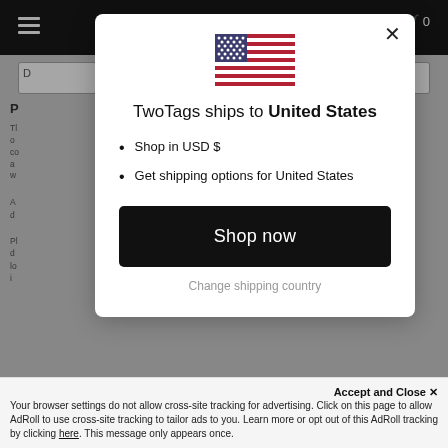[Figure (screenshot): Website screenshot background with dark navigation bar, hamburger menu, cart icon, search bar, and partially visible page text]
[Figure (illustration): United States flag SVG illustration]
TwoTags ships to United States
Shop in USD $
Get shipping options for United States
Shop now
Change shipping country
Accept and Close ✕
Your browser settings do not allow cross-site tracking for advertising. Click on this page to allow AdRoll to use cross-site tracking to tailor ads to you. Learn more or opt out of this AdRoll tracking by clicking here. This message only appears once.